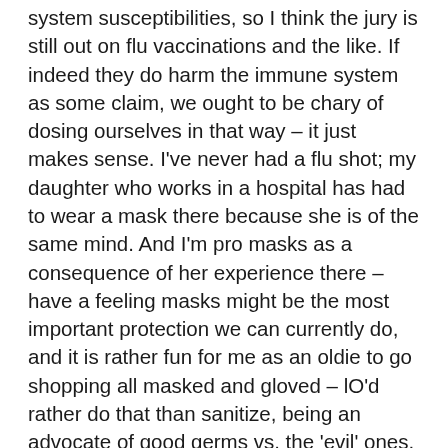system susceptibilities, so I think the jury is still out on flu vaccinations and the like. If indeed they do harm the immune system as some claim, we ought to be chary of dosing ourselves in that way – it just makes sense. I've never had a flu shot; my daughter who works in a hospital has had to wear a mask there because she is of the same mind. And I'm pro masks as a consequence of her experience there – have a feeling masks might be the most important protection we can currently do, and it is rather fun for me as an oldie to go shopping all masked and gloved – lO'd rather do that than sanitize, being an advocate of good germs vs. the 'evil' ones.